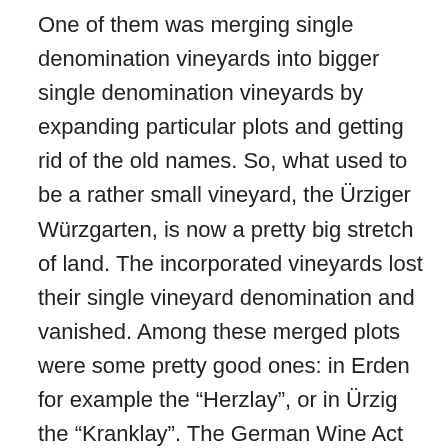One of them was merging single denomination vineyards into bigger single denomination vineyards by expanding particular plots and getting rid of the old names. So, what used to be a rather small vineyard, the Ürziger Würzgarten, is now a pretty big stretch of land. The incorporated vineyards lost their single vineyard denomination and vanished. Among these merged plots were some pretty good ones: in Erden for example the “Herzlay”, or in Ürzig the “Kranklay”. The German Wine Act prohibits wineries from putting the names of these now defunct vineyards on the label, even if the vineyards are in these old plots.
A younger generation of winemakers has realized that terroir actually matters (it really does not in any way to the German Wine Act). So, some of them have started putting the names of the deleted vineyards back on the labels